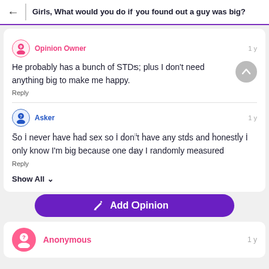Girls, What would you do if you found out a guy was big?
Opinion Owner · 1 y
He probably has a bunch of STDs; plus I don't need anything big to make me happy.
Reply
Asker · 1 y
So I never have had sex so I don't have any stds and honestly I only know I'm big because one day I randomly measured
Reply
Show All
Add Opinion
Anonymous · 1 y